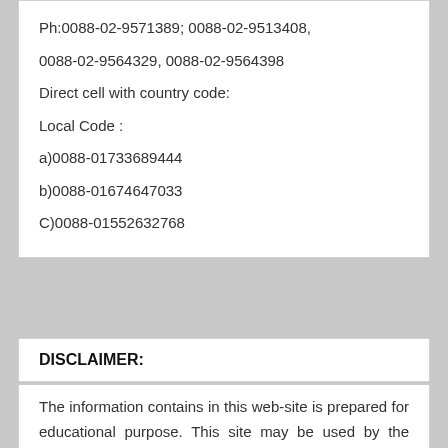Ph:0088-02-9571389; 0088-02-9513408,
0088-02-9564329, 0088-02-9564398
Direct cell with country code:
Local Code :
a)0088-01733689444
b)0088-01674647033
C)0088-01552632768
DISCLAIMER:
The information contains in this web-site is prepared for educational purpose. This site may be used by the students, faculties, independent learners and the learned advocates of all over the world. Researchers all over the world have the access to upload their writes up in this